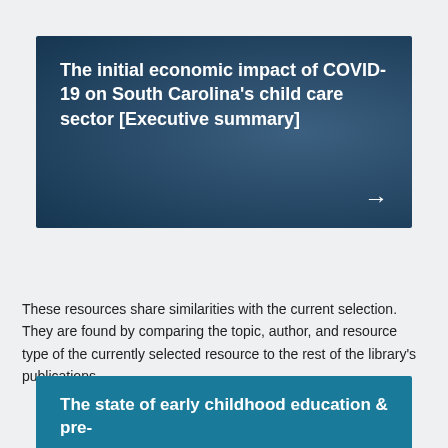The initial economic impact of COVID-19 on South Carolina's child care sector [Executive summary]
You May Also Like
These resources share similarities with the current selection. They are found by comparing the topic, author, and resource type of the currently selected resource to the rest of the library's publications.
The state of early childhood education & pre-